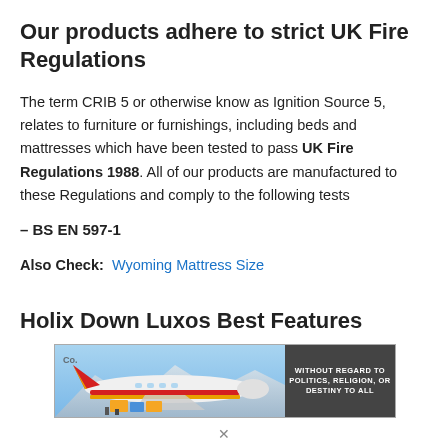Our products adhere to strict UK Fire Regulations
The term CRIB 5 or otherwise know as Ignition Source 5, relates to furniture or furnishings, including beds and mattresses which have been tested to pass UK Fire Regulations 1988. All of our products are manufactured to these Regulations and comply to the following tests
– BS EN 597-1
Also Check:  Wyoming Mattress Size
Holix Down Luxos Best Features
[Figure (photo): Advertisement banner showing an airplane being loaded with cargo, with text 'WITHOUT REGARD TO POLITICS, RELIGION, OR DESTINY TO ALL']